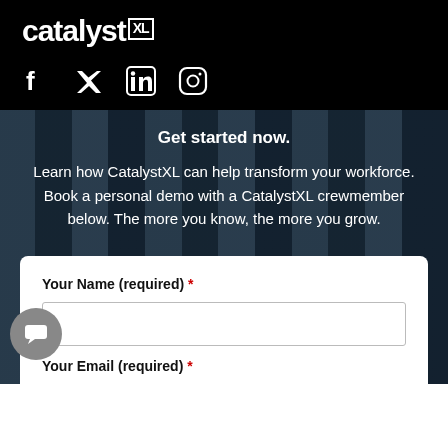catalystXL
[Figure (infographic): Social media icons: Facebook, Twitter, LinkedIn, Instagram — white on black background]
Get started now.
Learn how CatalystXL can help transform your workforce. Book a personal demo with a CatalystXL crewmember below. The more you know, the more you grow.
Your Name (required) *
Your Email (required) *